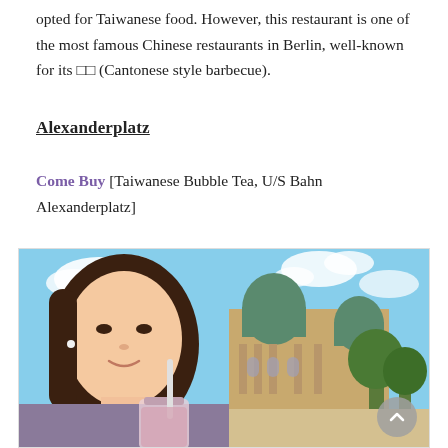opted for Taiwanese food. However, this restaurant is one of the most famous Chinese restaurants in Berlin, well-known for its □□ (Cantonese style barbecue).
Alexanderplatz
Come Buy [Taiwanese Bubble Tea, U/S Bahn Alexanderplatz]
[Figure (photo): A young woman taking a selfie in front of the Berliner Dom (Berlin Cathedral) on a sunny day, holding a bubble tea drink with a straw. The cathedral's green copper domes are visible in the background along with blue sky and trees.]